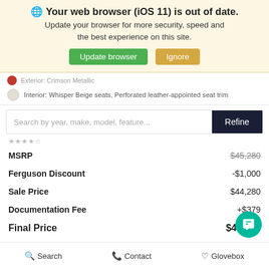Your web browser (iOS 11) is out of date. Update your browser for more security, speed and the best experience on this site. Update browser | Ignore
Interior: Whisper Beige seats, Perforated leather-appointed seat trim
Search by year, make, model, feature... Refine
|  |  |
| --- | --- |
| MSRP | $45,280 |
| Ferguson Discount | -$1,000 |
| Sale Price | $44,280 |
| Documentation Fee | +$379 |
| Final Price | $44,659 |
Search   Contact   Glovebox